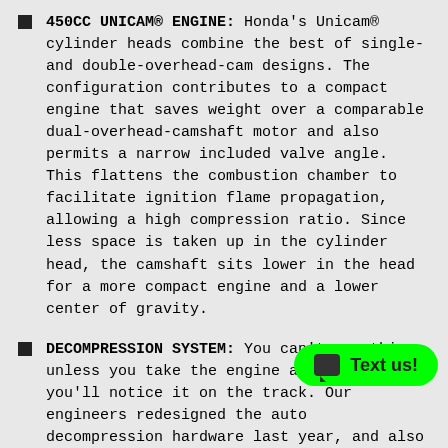450CC UNICAM® ENGINE: Honda's Unicam® cylinder heads combine the best of single- and double-overhead-cam designs. The configuration contributes to a compact engine that saves weight over a comparable dual-overhead-camshaft motor and also permits a narrow included valve angle. This flattens the combustion chamber to facilitate ignition flame propagation, allowing a high compression ratio. Since less space is taken up in the cylinder head, the camshaft sits lower in the head for a more compact engine and a lower center of gravity.
DECOMPRESSION SYSTEM: You can't see this unless you take the engine apart, but you'll notice it on the track. Our engineers redesigned the auto decompression hardware last year, and also moved it from the right side of the cam to th... result is less stalling at extreme low RPM (think deep into a turn without downshifting) as well as